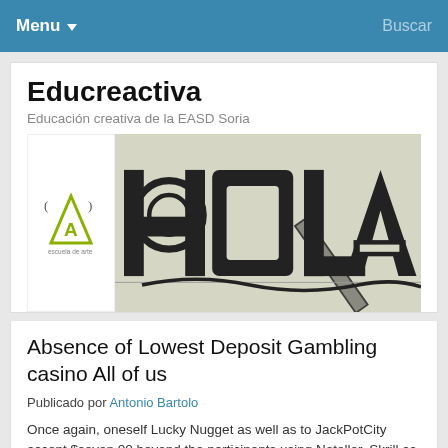Menu   Buscar
Educreactiva
Educación creativa de la EASD Soria
[Figure (illustration): Banner image with a logo of Escuela de Arte on the left and a graphic design showing the word HOLA in large bold letters with art tools and geometric shapes on a light beige background]
Absence of Lowest Deposit Gambling casino All of us
Publicado por Antonio Bartolo
Once again, oneself Lucky Nugget as well as to JackPotCity accept $seven.00 beyond the participants using Neteller, Skrill as well as to EntroPay from the second and also implementing transfers. As you maybe know, you can use these techniques and others that can be